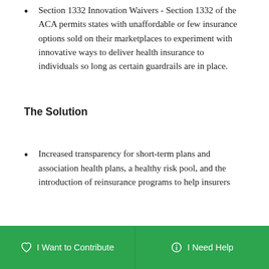Section 1332 Innovation Waivers - Section 1332 of the ACA permits states with unaffordable or few insurance options sold on their marketplaces to experiment with innovative ways to deliver health insurance to individuals so long as certain guardrails are in place.
The Solution
Increased transparency for short-term plans and association health plans, a healthy risk pool, and the introduction of reinsurance programs to help insurers
I Want to Contribute    I Need Help